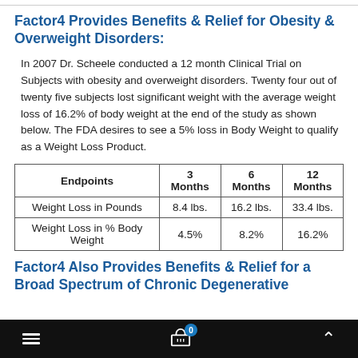Factor4 Provides Benefits & Relief for Obesity & Overweight Disorders:
In 2007 Dr. Scheele conducted a 12 month Clinical Trial on Subjects with obesity and overweight disorders. Twenty four out of twenty five subjects lost significant weight with the average weight loss of 16.2% of body weight at the end of the study as shown below. The FDA desires to see a 5% loss in Body Weight to qualify as a Weight Loss Product.
| Endpoints | 3 Months | 6 Months | 12 Months |
| --- | --- | --- | --- |
| Weight Loss in Pounds | 8.4 lbs. | 16.2 lbs. | 33.4 lbs. |
| Weight Loss in % Body Weight | 4.5% | 8.2% | 16.2% |
Factor4 Also Provides Benefits & Relief for a Broad Spectrum of Chronic Degenerative
≡  🛒 0  ∧